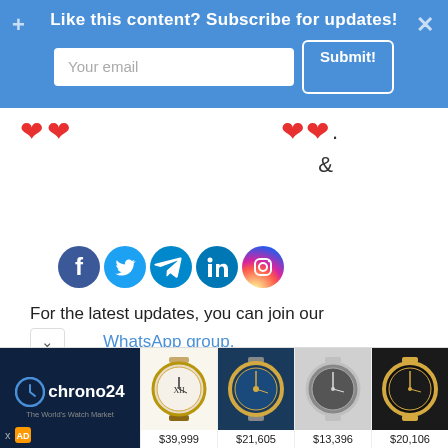Like this content? Subscribe for updates!
Your email
Submit!
[Figure (infographic): Two red heart emojis on left, two red heart emojis followed by period on right, ampersand below on right side]
[Figure (infographic): Social media icons: Facebook, Twitter, Telegram, LinkedIn, Instagram]
For the latest updates, you can join our
WhatsApp group.
[Figure (infographic): Chrono24 advertisement banner with watch images priced at $39,999, $21,605, $13,396, $20,106]